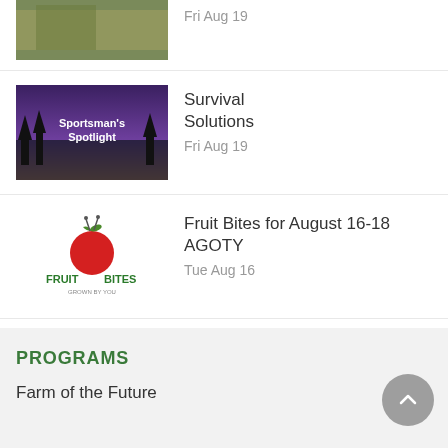Survival Solutions
Fri Aug 19
Fruit Bites for August 16-18 AGOTY
Tue Aug 16
U.S. Poised to Enter Third Year of La Nina
Fri Aug 19
PROGRAMS
Farm of the Future